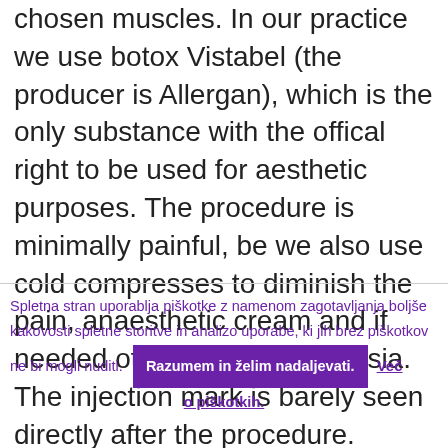chosen muscles. In our practice we use botox Vistabel (the producer is Allergan), which is the only substance with the offical right to be used for aesthetic purposes. The procedure is minimally painful, be we also use cold compresses to diminish the pain, anaesthetic cream and if needed other local anaesthesia. The injection mark is barely seen directly after the procedure.
Spletna stran uporablja piškotke z namenom zagotavljanja boljše kakovosti spletne storitve in analizo uporabe, ki jih brez piškotkov ne bi mogli nuditi. Razumem in želim nadaljevati. Več o piškotkih.